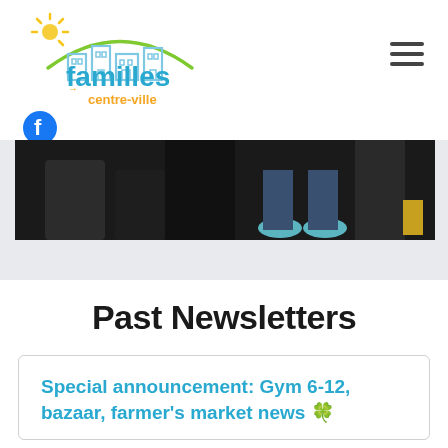[Figure (logo): Familles centre-ville logo with sun, building icons, and colorful text]
[Figure (other): Hamburger menu icon (three horizontal lines)]
[Figure (other): Facebook icon (circular blue F logo)]
[Figure (photo): Photo of people's feet and legs, partial image visible at top of page]
Past Newsletters
Special announcement: Gym 6-12, bazaar, farmer's market news 🍀